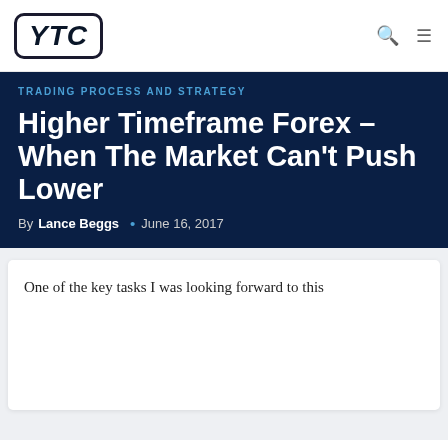YTC
TRADING PROCESS AND STRATEGY
Higher Timeframe Forex – When The Market Can't Push Lower
By Lance Beggs • June 16, 2017
One of the key tasks I was looking forward to this